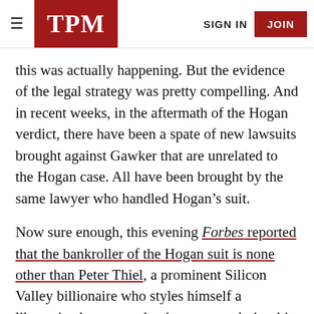TPM | SIGN IN | JOIN
this was actually happening. But the evidence of the legal strategy was pretty compelling. And in recent weeks, in the aftermath of the Hogan verdict, there have been a spate of new lawsuits brought against Gawker that are unrelated to the Hogan case. All have been brought by the same lawyer who handled Hogan’s suit.
Now sure enough, this evening Forbes reported that the bankroller of the Hogan suit is none other than Peter Thiel, a prominent Silicon Valley billionaire who styles himself a libertarian but somewhat incongruously is a big time supporter of Donald